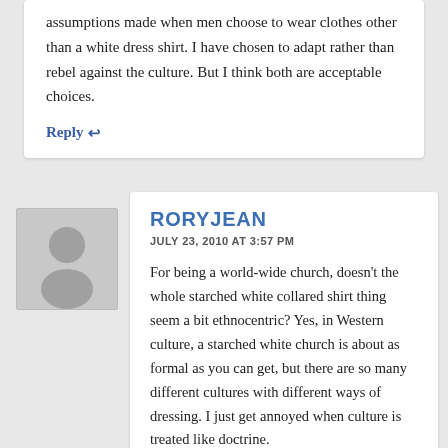assumptions made when men choose to wear clothes other than a white dress shirt. I have chosen to adapt rather than rebel against the culture. But I think both are acceptable choices.
Reply ↩
[Figure (illustration): Generic user avatar placeholder image showing a grey silhouette of a person]
RORYJEAN
JULY 23, 2010 AT 3:57 PM
For being a world-wide church, doesn't the whole starched white collared shirt thing seem a bit ethnocentric? Yes, in Western culture, a starched white church is about as formal as you can get, but there are so many different cultures with different ways of dressing. I just get annoyed when culture is treated like doctrine.